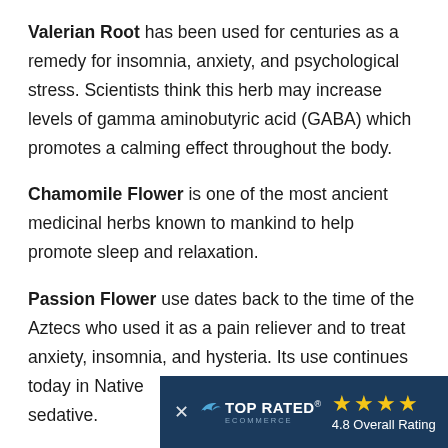Valerian Root has been used for centuries as a remedy for insomnia, anxiety, and psychological stress. Scientists think this herb may increase levels of gamma aminobutyric acid (GABA) which promotes a calming effect throughout the body.
Chamomile Flower is one of the most ancient medicinal herbs known to mankind to help promote sleep and relaxation.
Passion Flower use dates back to the time of the Aztecs who used it as a pain reliever and to treat anxiety, insomnia, and hysteria. Its use continues today in Native [partially obscured] sedative.
[Figure (other): Top Rated Ecommerce banner overlay with a close (X) button, bird logo, 'TOP RATED ECOMMERCE' text, 4 gold stars, and '4.8 Overall Rating' text on a dark navy background.]